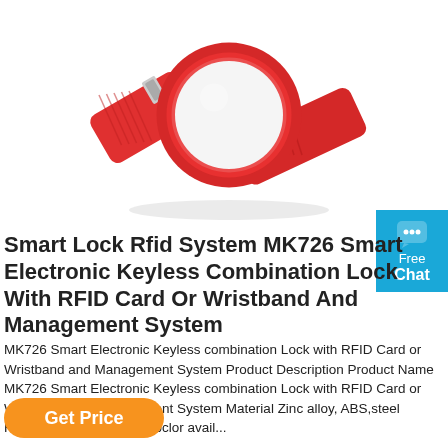[Figure (photo): Red RFID wristband/smart lock wristband product photo on white background]
[Figure (other): Blue chat badge with speech bubble icon, 'Free Chat' text]
Smart Lock Rfid System MK726 Smart Electronic Keyless Combination Lock With RFID Card Or Wristband And Management System
MK726 Smart Electronic Keyless combination Lock with RFID Card or Wristband and Management System Product Description Product Name MK726 Smart Electronic Keyless combination Lock with RFID Card or Wristband and Management System Material Zinc alloy, ABS,steel Finished Black,different coclor avail...
Get Price